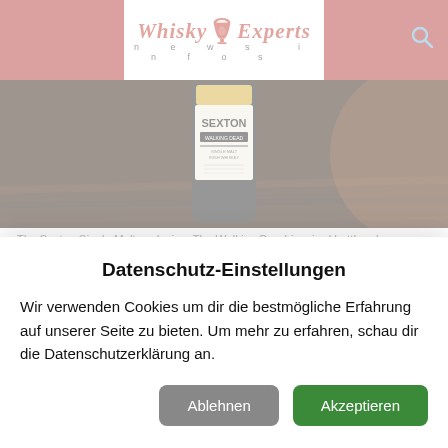Whisky Experts news infos
[Figure (photo): A dark moody photo of a Sexton Single Malt whisky bottle on a wooden surface, with The Walking Dead label visible on the bottle.]
The Sexton Single Malt exclusive, The Walking Dead-inspired bottle release.
The striking release depicts notions of The Walking
Datenschutz-Einstellungen
Wir verwenden Cookies um dir die bestmögliche Erfahrung auf unserer Seite zu bieten. Um mehr zu erfahren, schau dir die Datenschutzerklärung an.